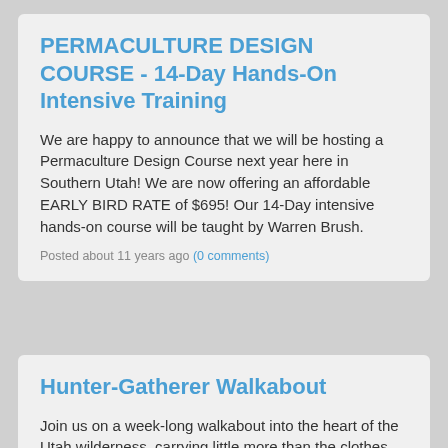PERMACULTURE DESIGN COURSE - 14-Day Hands-On Intensive Training
We are happy to announce that we will be hosting a Permaculture Design Course next year here in Southern Utah! We are now offering an affordable EARLY BIRD RATE of $695! Our 14-Day intensive hands-on course will be taught by Warren Brush.
Posted about 11 years ago (0 comments)
Hunter-Gatherer Walkabout
Join us on a week-long walkabout into the heart of the Utah wilderness, carrying little more than the clothes you wear. Learn how to slow down into the